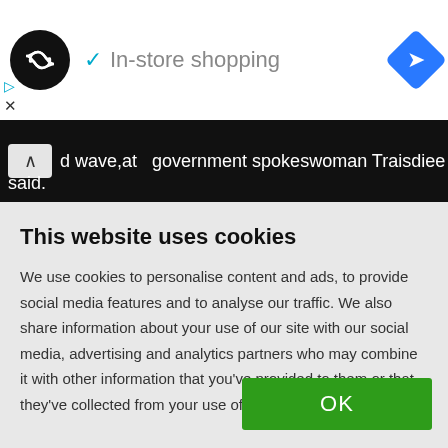[Figure (logo): Black circle logo with infinity-like double arrow symbol]
✓ In-store shopping
[Figure (logo): Blue diamond navigation/directions icon]
d wave,at government spokeswoman Traisdiee said.
This website uses cookies
We use cookies to personalise content and ads, to provide social media features and to analyse our traffic. We also share information about your use of our site with our social media, advertising and analytics partners who may combine it with other information that you've provided to them or that they've collected from your use of their services
OK